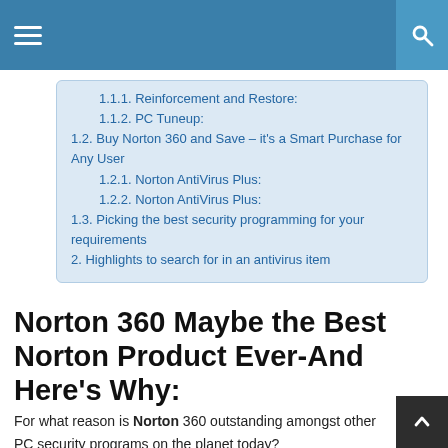Navigation bar with hamburger menu and search icon
1.1.1. Reinforcement and Restore:
1.1.2. PC Tuneup:
1.2. Buy Norton 360 and Save – it's a Smart Purchase for Any User
1.2.1. Norton AntiVirus Plus:
1.2.2. Norton AntiVirus Plus:
1.3. Picking the best security programming for your requirements
2. Highlights to search for in an antivirus item
Norton 360 Maybe the Best Norton Product Ever-And Here's Why:
For what reason is Norton 360 outstanding amongst other PC security programs on the planet today?